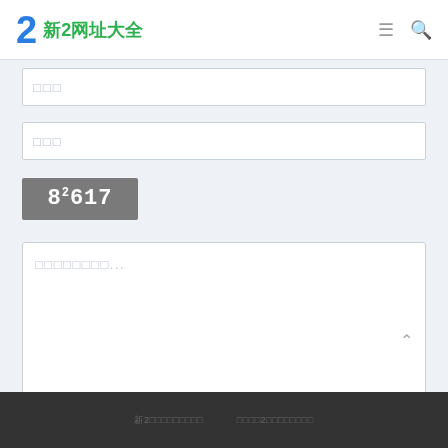新2网址大全
□□□
□□□
[Figure (other): CAPTCHA image showing '82617' in white text on grey background]
□□□□□□□□...
□□
新2网址大全备用网址  新2网址大全备用网址